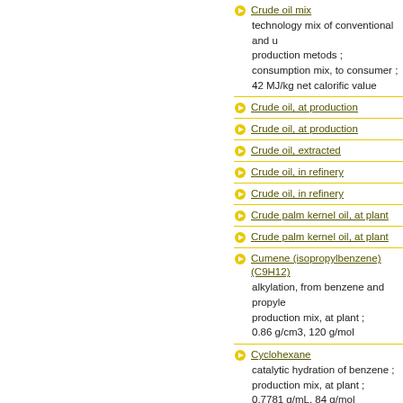Crude oil mix — technology mix of conventional and unconventional production metods ; consumption mix, to consumer ; 42 MJ/kg net calorific value
Crude oil, at production
Crude oil, at production
Crude oil, extracted
Crude oil, in refinery
Crude oil, in refinery
Crude palm kernel oil, at plant
Crude palm kernel oil, at plant
Cumene (isopropylbenzene) (C9H12) — alkylation, from benzene and propylene ; production mix, at plant ; 0.86 g/cm3, 120 g/mol
Cyclohexane — catalytic hydration of benzene ; production mix, at plant ; 0.7781 g/mL, 84 g/mol
Cyclohexanone — oxidation of cyclohexane ; production mix, at plant ; 0.95 g/mL, 98 g/mol
Debarked wood, at plywood plant, US